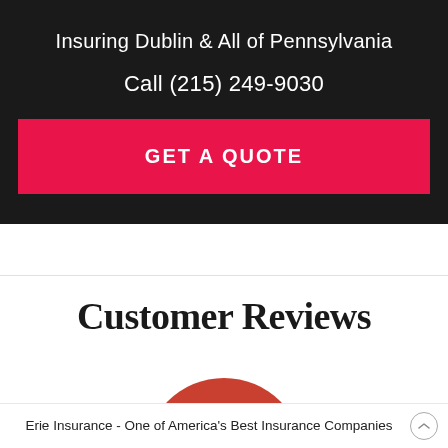Insuring Dublin & All of Pennsylvania
Call (215) 249-9030
GET A QUOTE
Customer Reviews
[Figure (logo): Red circular logo partially visible at bottom of white section]
Erie Insurance - One of America's Best Insurance Companies